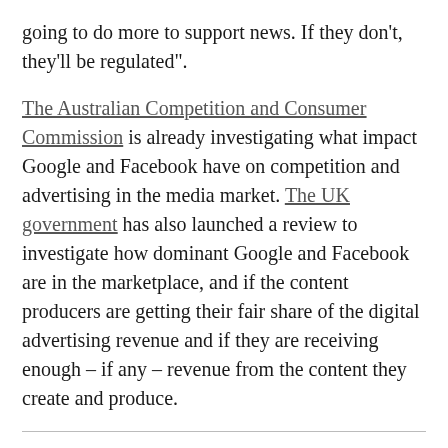going to do more to support news. If they don't, they'll be regulated". The Australian Competition and Consumer Commission is already investigating what impact Google and Facebook have on competition and advertising in the media market. The UK government has also launched a review to investigate how dominant Google and Facebook are in the marketplace, and if the content producers are getting their fair share of the digital advertising revenue and if they are receiving enough – if any – revenue from the content they create and produce.
Read more: What consumers need from the ACCC inquiry into Google and Facebook